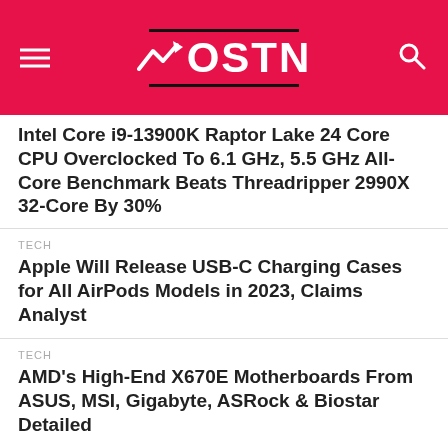OSTN
Intel Core i9-13900K Raptor Lake 24 Core CPU Overclocked To 6.1 GHz, 5.5 GHz All-Core Benchmark Beats Threadripper 2990X 32-Core By 30%
TECH
Apple Will Release USB-C Charging Cases for All AirPods Models in 2023, Claims Analyst
TECH
AMD's High-End X670E Motherboards From ASUS, MSI, Gigabyte, ASRock & Biostar Detailed
TECH
Intel Arc A370M GPU-Powered Lenovo Pro 27-Inch All-In-One PC Outperforms NVIDIA's RTX 3050 In Pro